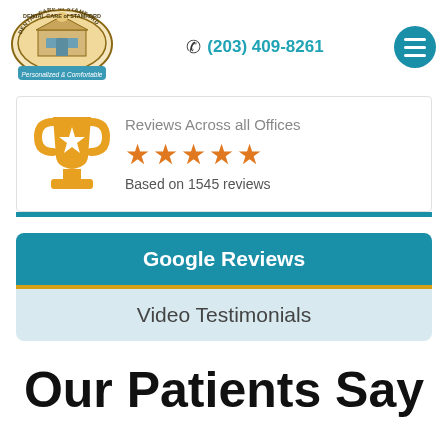[Figure (logo): Dental Care of Stamford logo — circular badge with building illustration and text 'Personalized & Comfortable']
(203) 409-8261
[Figure (infographic): Reviews Across all Offices — trophy icon, 5 orange stars, Based on 1545 reviews]
Google Reviews
Video Testimonials
Our Patients Say